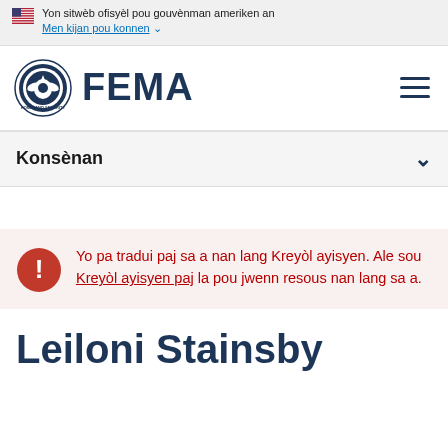Yon sitwèb ofisyèl pou gouvènman ameriken an Men kijan pou konnen
[Figure (logo): FEMA logo with DHS seal and FEMA wordmark]
Konsènan
Yo pa tradui paj sa a nan lang Kreyòl ayisyen. Ale sou Kreyòl ayisyen paj la pou jwenn resous nan lang sa a.
Leiloni Stainsby